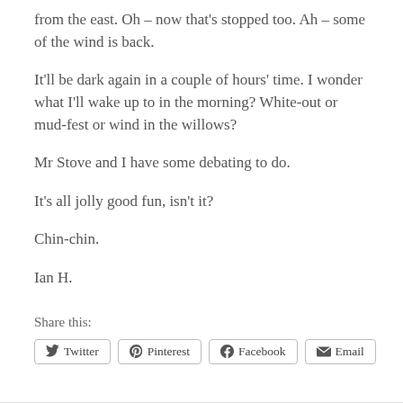from the east. Oh – now that's stopped too. Ah – some of the wind is back.
It'll be dark again in a couple of hours' time. I wonder what I'll wake up to in the morning? White-out or mud-fest or wind in the willows?
Mr Stove and I have some debating to do.
It's all jolly good fun, isn't it?
Chin-chin.
Ian H.
Share this:
Twitter | Pinterest | Facebook | Email